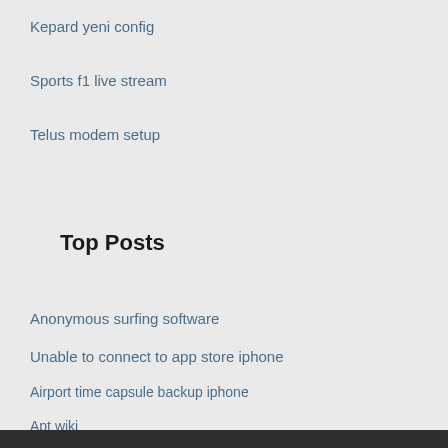Kepard yeni config
Sports f1 live stream
Telus modem setup
Top Posts
Anonymous surfing software
Unable to connect to app store iphone
Airport time capsule backup iphone
Apt wiki
4od app download